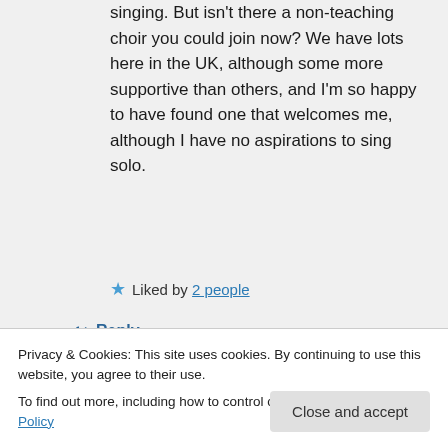singing. But isn't there a non-teaching choir you could join now? We have lots here in the UK, although some more supportive than others, and I'm so happy to have found one that welcomes me, although I have no aspirations to sing solo.
★ Liked by 2 people
↳ Reply
Privacy & Cookies: This site uses cookies. By continuing to use this website, you agree to their use. To find out more, including how to control cookies, see here: Cookie Policy
Close and accept
There are loads of local